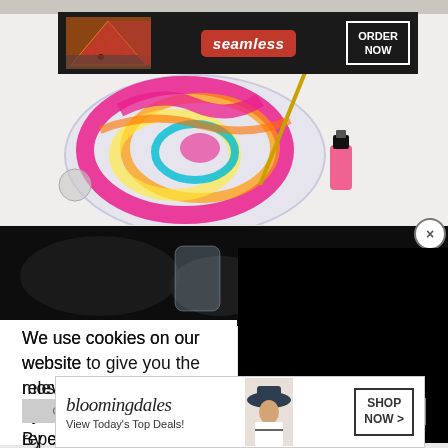[Figure (screenshot): Seamless food delivery advertisement banner with pizza image, red seamless logo, and ORDER NOW button on dark background]
[Figure (photo): Nail art photo showing colorful swirled paint in a glass bowl with nail polish brush and pink nail polish bottle on white surface]
[Figure (screenshot): Close button X circle icon in top right corner]
[Figure (photo): Dark/black second photo strip below main photo]
[Figure (screenshot): Black video/advertisement overlay box on the right side]
We use cookies on our website to give you the most relevant experience by remembering your preferences and repeat visits. By clicking "Accept All", you consent to the use of ALL the cookies. However, you may visit "Cookie Settings" to provide a controlled consent.
[Figure (screenshot): Cookie Settings button (grey) and Accept All button (green) and CLOSE button]
[Figure (screenshot): Bloomingdales advertisement with logo, View Today's Top Deals text, model with hat, and SHOP NOW button]